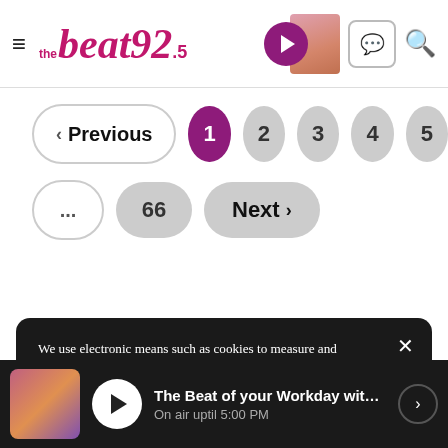the beat 92.5 — navigation header with logo, play button, chat, and search
< Previous | 1 | 2 | 3 | 4 | 5 | ... | 66 | Next >
We use electronic means such as cookies to measure and improve the effectiveness of our websites or enhance the customer experience. By using our website, you consent to the use of cookies, as described in our Privacy Policy. To understand more about how we use cookies or to change your settings, please consult the section : Your Choice with Cookies
The Beat of your Workday with Megh... On air uptil 5:00 PM